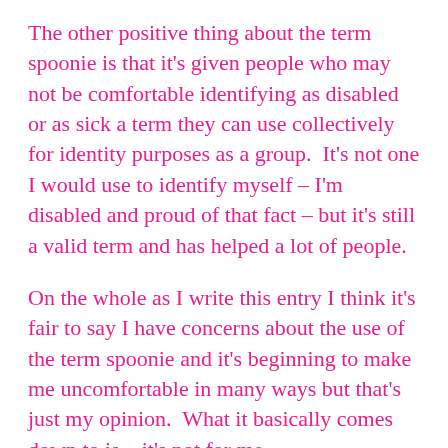The other positive thing about the term spoonie is that it's given people who may not be comfortable identifying as disabled or as sick a term they can use collectively for identity purposes as a group.  It's not one I would use to identify myself – I'm disabled and proud of that fact – but it's still a valid term and has helped a lot of people.
On the whole as I write this entry I think it's fair to say I have concerns about the use of the term spoonie and it's beginning to make me uncomfortable in many ways but that's just my opinion.  What it basically comes down to is – it's not for me.